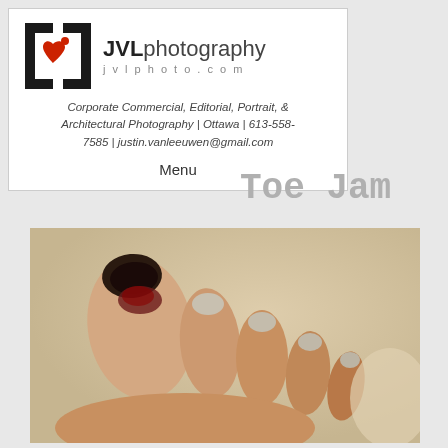[Figure (logo): JVL Photography logo with bracket icon in black/red and text 'JVLphotography jvlphoto.com']
Corporate Commercial, Editorial, Portrait, & Architectural Photography | Ottawa | 613-558-7585 | justin.vanleeuwen@gmail.com
Menu
Toe Jam
[Figure (photo): Close-up photograph of a human foot showing toes, with the big toe appearing injured/damaged with a darkened toenail, against a warm beige background.]